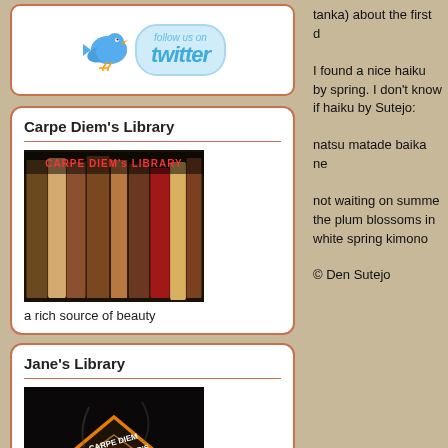[Figure (screenshot): Follow us on Twitter button with blue bird logo]
Carpe Diem's Library
[Figure (photo): Photo of old library books spine view with text 'CARPE DIEM's LIBRARY' in red]
a rich source of beauty
Jane's Library
[Figure (photo): Dark image with fiery diamond shape, text: CARPE DIEM JANE REICHHOLD'S LIBRARY (e-books)]
the e-books by Jane Reichhold
tanka) about the first d
I found a nice haiku by spring. I don't know if haiku by Sutejo:
natsu matade baika ne
not waiting on summe the plum blossoms in white spring kimono
© Den Sutejo